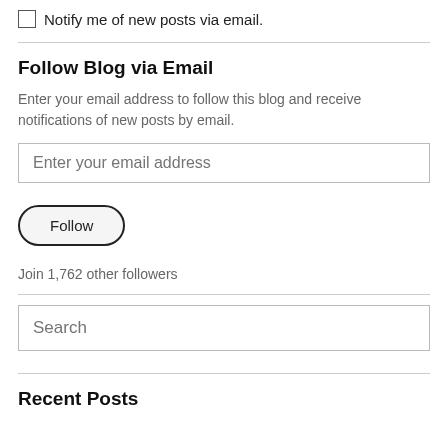Notify me of new posts via email.
Follow Blog via Email
Enter your email address to follow this blog and receive notifications of new posts by email.
Enter your email address
Follow
Join 1,762 other followers
Search
Recent Posts